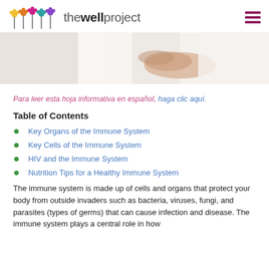the well project
[Figure (photo): Close-up photo of a person in a white lab coat or shirt, with hands in a prayer or cupped position, suggesting a healthcare or wellness context]
Para leer esta hoja informativa en español, haga clic aquí.
Table of Contents
Key Organs of the Immune System
Key Cells of the Immune System
HIV and the Immune System
Nutrition Tips for a Healthy Immune System
The immune system is made up of cells and organs that protect your body from outside invaders such as bacteria, viruses, fungi, and parasites (types of germs) that can cause infection and disease. The immune system plays a central role in how...